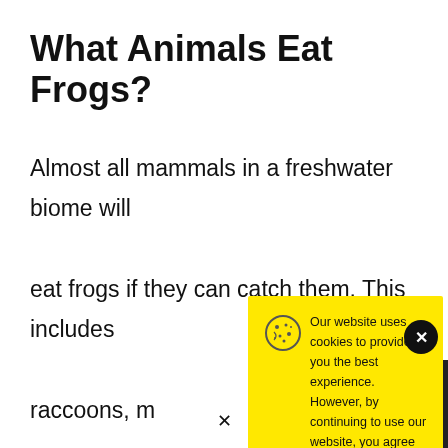What Animals Eat Frogs?
Almost all mammals in a freshwater biome will eat frogs if they can catch them. This includes raccoons, m... humans. Alth... necessarily b... come there t... water or alo...
[Figure (screenshot): Cookie consent modal popup with yellow background. Contains a cookie icon, text reading 'Our website uses cookies to provide you the best experience. However, by continuing to use our website, you agree to our use of cookies. For more information, read our Cookie Policy.' with an Accept button. A close (x) button appears in a black circle at top right.]